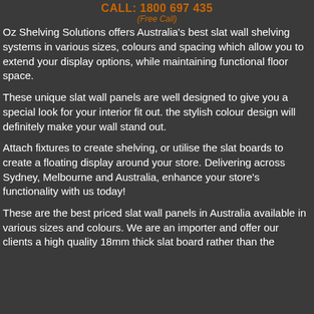CALL: 1800 697 435
(Free Call)
Oz Shelving Solutions offers Australia's best slat wall shelving systems in various sizes, colours and spacing which allow you to extend your display options, while maintaining functional floor space.
These unique slat wall panels are well designed to give you a special look for your interior fit out. the stylish colour design will definitely make your wall stand out.
Attach fixtures to create shelving, or utilise the slat boards to create a floating display around your store. Delivering across Sydney, Melbourne and Australia, enhance your store's functionality with us today!
These are the best priced slat wall panels in Australia available in various sizes and colours. We are an importer and offer our clients a high quality 18mm thick slat board rather than the